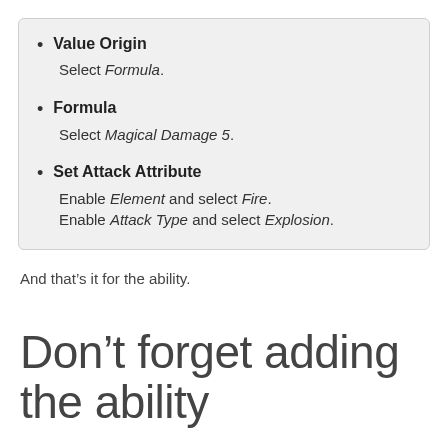Value Origin — Select Formula.
Formula — Select Magical Damage 5.
Set Attack Attribute — Enable Element and select Fire. Enable Attack Type and select Explosion.
And that’s it for the ability.
Don’t forget adding the ability